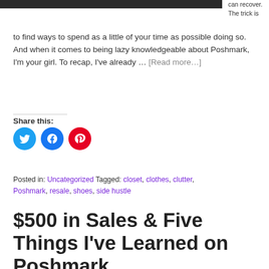[Figure (photo): Partial dark/black image strip at the top of the page]
can recover. The trick is to find ways to spend as a little of your time as possible doing so. And when it comes to being lazy knowledgeable about Poshmark, I'm your girl. To recap, I've already … [Read more…]
Share this:
[Figure (infographic): Three social share buttons: Twitter (blue circle), Facebook (blue circle), Pinterest (red circle)]
Posted in: Uncategorized Tagged: closet, clothes, clutter, Poshmark, resale, shoes, side hustle
$500 in Sales & Five Things I've Learned on Poshmark